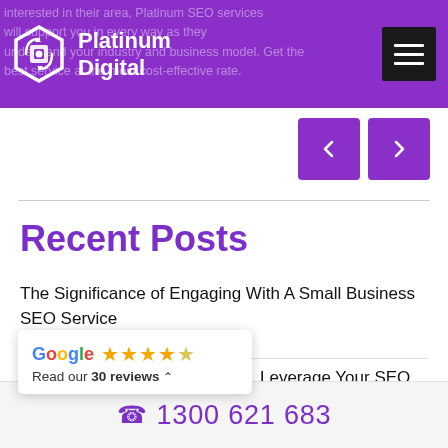Platinum Digital
interested in their area, Platinum SEO services will support you in every way as they understand your industry and business model. Get the best service at the most cost-effective rate.
[Figure (logo): Platinum Digital logo with hexagon icon]
Recent Posts
The Significance of Engaging With A Small Business SEO Service
Leverage Your SEO And
[Figure (other): Google review widget showing 4.5 stars and 30 reviews]
1300 621 683